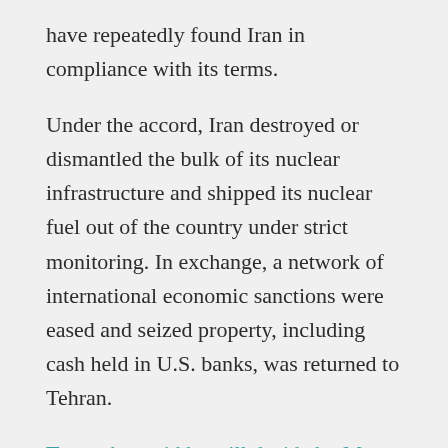have repeatedly found Iran in compliance with its terms.
Under the accord, Iran destroyed or dismantled the bulk of its nuclear infrastructure and shipped its nuclear fuel out of the country under strict monitoring. In exchange, a network of international economic sanctions were eased and seized property, including cash held in U.S. banks, was returned to Tehran.
Trump has said he will decide by May 12 whether to pull out of the accord and unilaterally reimpose U.S. sanctions on Tehran. It’s unclear how quickly he would apply sanctions, however, which could buy time for further negotiations.
Trump and other critics say the accord is deficient